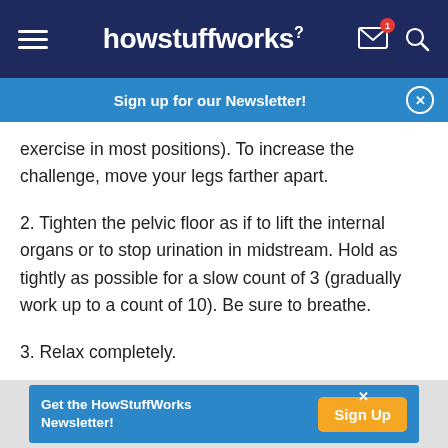howstuffworks
Sign up for our Newsletter!
exercise in most positions). To increase the challenge, move your legs farther apart.
2. Tighten the pelvic floor as if to lift the internal organs or to stop urination in midstream. Hold as tightly as possible for a slow count of 3 (gradually work up to a count of 10). Be sure to breathe.
3. Relax completely.
Get the HowStuffWorks Newsletter!  Sign Up